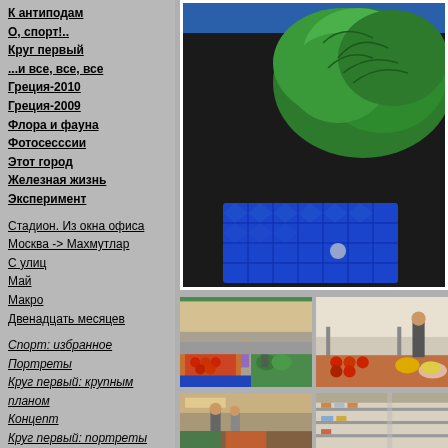К антиподам
О, спорт!..
Круг первый
...и все, все, все
Греция-2010
Греция-2009
Флора и фауна
Фотосесссии
Этот город
Железная жизнь
Эксперимент
Стадион. Из окна офиса
Москва -> Махмутлар
С улиц
Май
Макро
Двенадцать месяцев
Спорт: избранное
Портреты
Круг первый: крупным планом
Концепт
Круг первый: портреты
[Figure (photo): Close-up photo of fresh green lettuce on a blue plastic crate at a market]
[Figure (photo): Outdoor market with fruit and vegetable stalls, awnings, shoppers browsing]
[Figure (photo): Partially visible market stall with tomatoes and produce, person visible]
[Figure (photo): Outdoor market street view with people walking]
[Figure (photo): Indoor or covered market stall with goods on shelves]